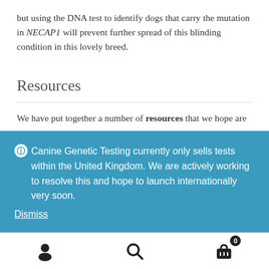but using the DNA test to identify dogs that carry the mutation in NECAP1 will prevent further spread of this blinding condition in this lovely breed.
Resources
We have put together a number of resources that we hope are
Canine Genetic Testing currently only sells tests within the United Kingdom. We are actively working to resolve this and hope to launch internationally very soon. Dismiss